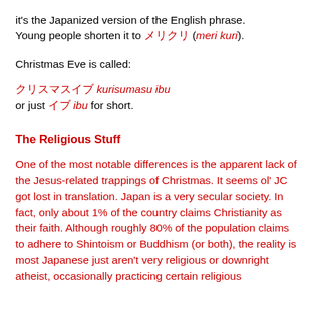it's the Japanized version of the English phrase. Young people shorten it to メリクリ (meri kuri).
Christmas Eve is called:
クリスマスイブ kurisumasu ibu
or just イブ ibu for short.
The Religious Stuff
One of the most notable differences is the apparent lack of the Jesus-related trappings of Christmas. It seems ol' JC got lost in translation. Japan is a very secular society. In fact, only about 1% of the country claims Christianity as their faith. Although roughly 80% of the population claims to adhere to Shintoism or Buddhism (or both), the reality is most Japanese just aren't very religious or downright atheist, occasionally practicing certain religious